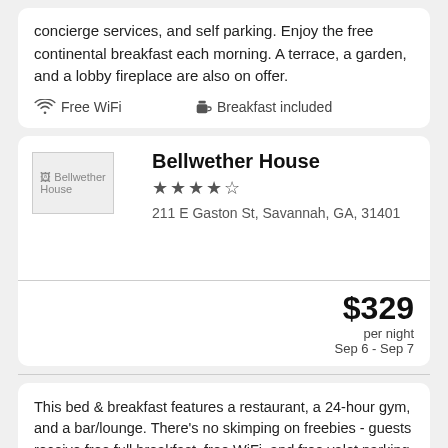concierge services, and self parking. Enjoy the free continental breakfast each morning. A terrace, a garden, and a lobby fireplace are also on offer.
Free WiFi
Breakfast included
[Figure (photo): Bellwether House hotel image (broken)]
Bellwether House
★★★★☆
211 E Gaston St, Savannah, GA, 31401
$329 per night Sep 6 - Sep 7
This bed & breakfast features a restaurant, a 24-hour gym, and a bar/lounge. There's no skimping on freebies - guests receive free full breakfast, free WiFi, and free valet parking. Free self parking, a coffee shop, and a terrace are also offered.
Free WiFi
Breakfast included